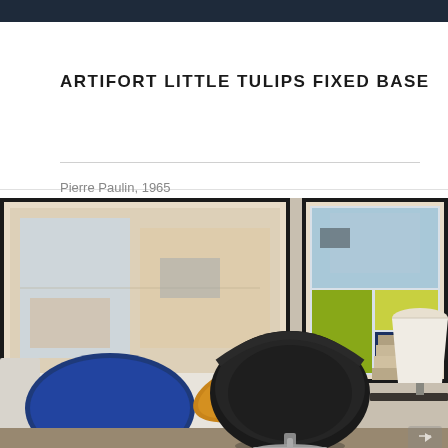[Figure (photo): Top dark navy/steel blue strip — partial top of a product or interior photo]
ARTIFORT LITTLE TULIPS FIXED BASE
Pierre Paulin, 1965
Vendu, Sold
[Figure (photo): Interior room scene showing a black Artifort Little Tulips chair with fixed base, white sofa with blue cushion, gold metallic cushion, two framed artwork prints on the wall, a table lamp with white shade on the right, and a stack of books on a dark side table. Background features large windows.]